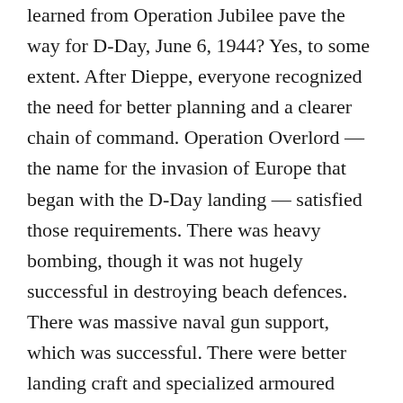learned from Operation Jubilee pave the way for D-Day, June 6, 1944? Yes, to some extent. After Dieppe, everyone recognized the need for better planning and a clearer chain of command. Operation Overlord — the name for the invasion of Europe that began with the D-Day landing — satisfied those requirements. There was heavy bombing, though it was not hugely successful in destroying beach defences. There was massive naval gun support, which was successful. There were better landing craft and specialized armoured vehicles, and the assault troops were far better trained. All of those things would likely have happened even without the Dieppe raid.
And instead of landing at a fortified port, the D-Day